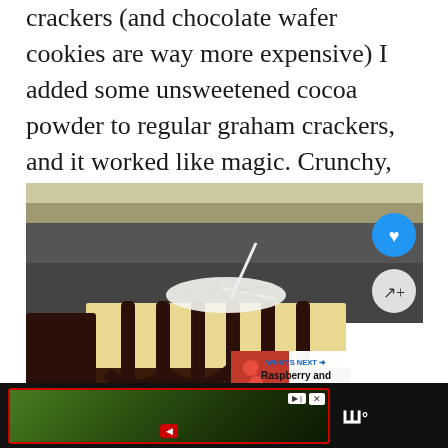crackers (and chocolate wafer cookies are way more expensive) I added some unsweetened cocoa powder to regular graham crackers, and it worked like magic. Crunchy, buttery and chocolatey. All at the same time!
[Figure (photo): Close-up photo of a cheesecake bar with chocolate drizzle and shredded coconut on top, with a heart (favorite) button and share button overlay, and a 'What's Next' recommendation box showing Raspberry and Chocolate in the corner]